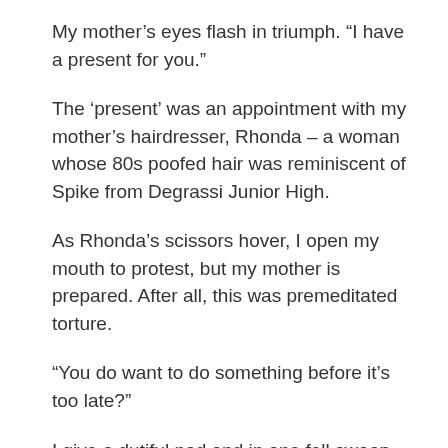My mother’s eyes flash in triumph. “I have a present for you.”
The ‘present’ was an appointment with my mother’s hairdresser, Rhonda – a woman whose 80s poofed hair was reminiscent of Spike from Degrassi Junior High.
As Rhonda’s scissors hover, I open my mouth to protest, but my mother is prepared. After all, this was premeditated torture.
“You do want to do something before it’s too late?”
I give a dutiful nod and in one fell swoop my ponytail is dropping to the floor. In no time Rhonda has transformed me into an eerie mash-up of Hillary